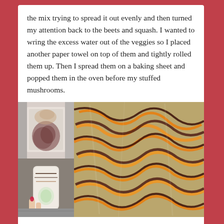the mix trying to spread it out evenly and then turned my attention back to the beets and squash. I wanted to wring the excess water out of the veggies so I placed another paper towel on top of them and tightly rolled them up. Then I spread them on a baking sheet and popped them in the oven before my stuffed mushrooms.
[Figure (photo): Collage of three food preparation photos: top-left shows a damp paper towel stained with beet juice, bottom-left shows a hand holding a rolled paper towel with shredded vegetables inside, and right shows shredded beets and squash (dark red and bright orange strands) spread on a foil-lined baking sheet.]
Everything came out of the oven and I plated them with